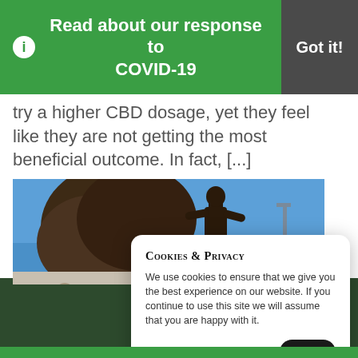Read about our response to COVID-19
Got it!
try a higher CBD dosage, yet they feel like they are not getting the most beneficial outcome. In fact, [...]
[Figure (photo): Outdoor photo with a bronze statue of a human figure against a blue sky, with a large tree in the background]
[Figure (photo): Stone relief sculpture showing multiple human figures]
COOKIES & PRIVACY
We use cookies to ensure that we give you the best experience on our website. If you continue to use this site we will assume that you are happy with it.
Read More
Got it